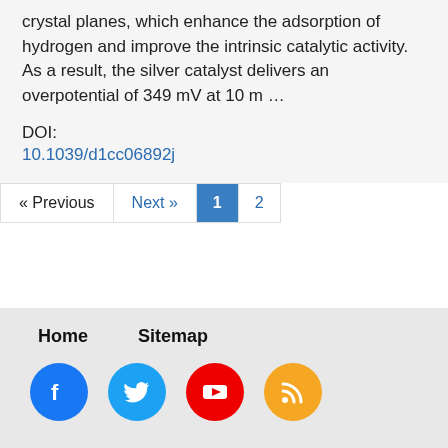crystal planes, which enhance the adsorption of hydrogen and improve the intrinsic catalytic activity. As a result, the silver catalyst delivers an overpotential of 349 mV at 10 m …
DOI:
10.1039/d1cc06892j
« Previous  Next »  1  2
Home   Sitemap